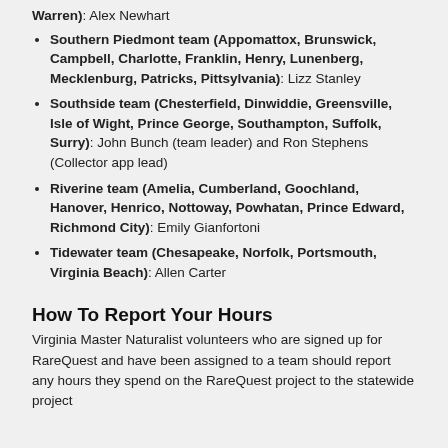Warren): Alex Newhart
Southern Piedmont team (Appomattox, Brunswick, Campbell, Charlotte, Franklin, Henry, Lunenberg, Mecklenburg, Patricks, Pittsylvania): Lizz Stanley
Southside team (Chesterfield, Dinwiddie, Greensville, Isle of Wight, Prince George, Southampton, Suffolk, Surry): John Bunch (team leader) and Ron Stephens (Collector app lead)
Riverine team (Amelia, Cumberland, Goochland, Hanover, Henrico, Nottoway, Powhatan, Prince Edward, Richmond City): Emily Gianfortoni
Tidewater team (Chesapeake, Norfolk, Portsmouth, Virginia Beach): Allen Carter
How To Report Your Hours
Virginia Master Naturalist volunteers who are signed up for RareQuest and have been assigned to a team should report any hours they spend on the RareQuest project to the statewide project